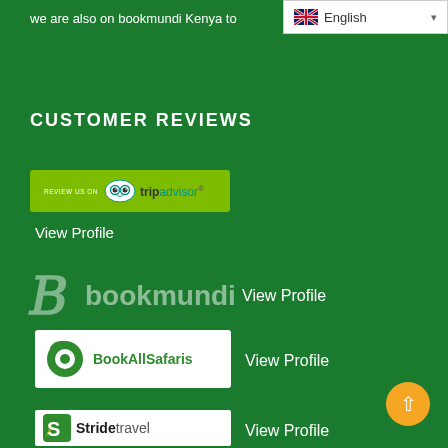we are also on bookmundi Kenya to
CUSTOMER REVIEWS
[Figure (logo): TripAdvisor 'Review Us On' badge with green background, owl logo, and tripadvisor text]
View  Profile
[Figure (logo): Bookmundi logo with stylized B icon and 'bookmundi' text in light color on green background]
View Profile
[Figure (logo): BookAllSafaris logo with green leaf/circle icon and 'BookAllSafaris' text on white background]
View Profile
[Figure (logo): Stridetravel logo with stylized S icon and 'Stridetravel' text on white background]
View Profile